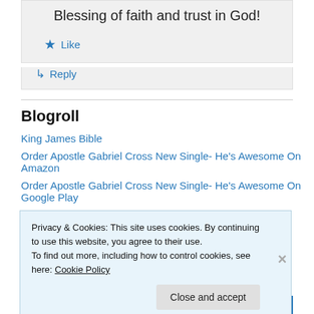Blessing of faith and trust in God!
★ Like
↳ Reply
Blogroll
King James Bible
Order Apostle Gabriel Cross New Single- He's Awesome On Amazon
Order Apostle Gabriel Cross New Single- He's Awesome On Google Play
Privacy & Cookies: This site uses cookies. By continuing to use this website, you agree to their use.
To find out more, including how to control cookies, see here: Cookie Policy
Close and accept